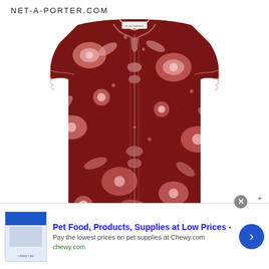NET-A-PORTER.COM
[Figure (photo): A red and pink floral print blouse/top with cap sleeves, gathered neckline with a small tie, and pleated front detail. The garment has a white label visible at the collar. Displayed on a white background.]
Pet Food, Products, Supplies at Low Prices -
Pay the lowest prices on pet supplies at Chewy.com
chewy.com